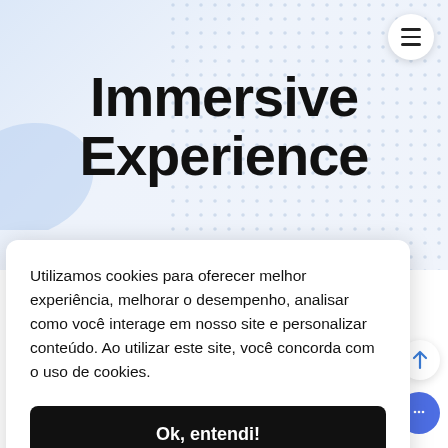[Figure (screenshot): Website header screenshot with hamburger menu icon, decorative dot pattern background, and blue gradient hero area]
Immersive Experience
Utilizamos cookies para oferecer melhor experiência, melhorar o desempenho, analisar como você interage em nosso site e personalizar conteúdo. Ao utilizar este site, você concorda com o uso de cookies.
Ok, entendi!
July 18, 2019